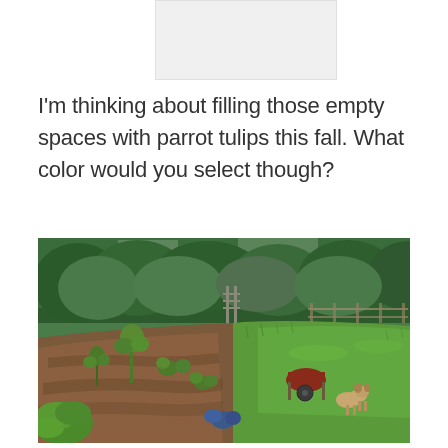[Figure (photo): Partial view of a small cropped image at the top, appears to be a garden or similar, mostly white/light gray placeholder]
I'm thinking about filling those empty spaces with parrot tulips this fall. What color would you select though?
[Figure (photo): Outdoor garden scene with a vegetable/flower garden plot showing sparse plants in brown soil, surrounded by lush green grass and trees in the background. A red wheelbarrow and a small dog or animal are visible on the right side of the grassy area.]